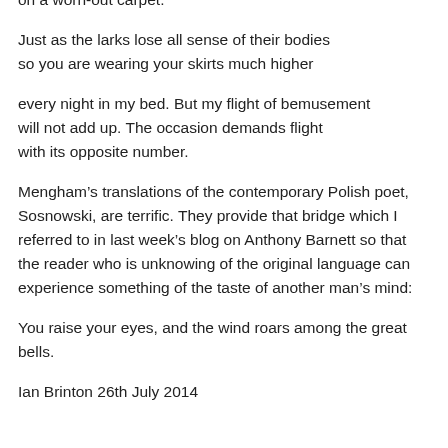on a worn-out carpet.
Just as the larks lose all sense of their bodies
so you are wearing your skirts much higher
every night in my bed. But my flight of bemusement
will not add up. The occasion demands flight
with its opposite number.
Mengham’s translations of the contemporary Polish poet, Sosnowski, are terrific. They provide that bridge which I referred to in last week’s blog on Anthony Barnett so that the reader who is unknowing of the original language can experience something of the taste of another man’s mind:
You raise your eyes, and the wind roars among the great bells.
Ian Brinton 26th July 2014